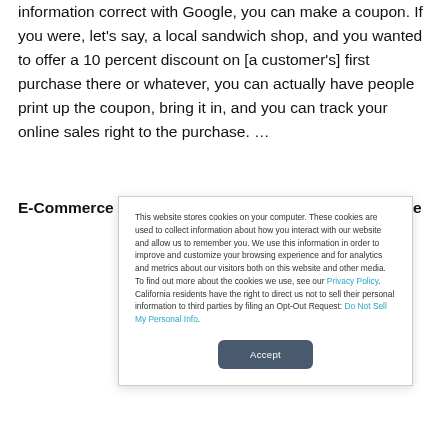information correct with Google, you can make a coupon. If you were, let's say, a local sandwich shop, and you wanted to offer a 10 percent discount on [a customer's] first purchase there or whatever, you can actually have people print up the coupon, bring it in, and you can track your online sales right to the purchase. …
E-Commerce Times: The big search engines — Google
This website stores cookies on your computer. These cookies are used to collect information about how you interact with our website and allow us to remember you. We use this information in order to improve and customize your browsing experience and for analytics and metrics about our visitors both on this website and other media. To find out more about the cookies we use, see our Privacy Policy. California residents have the right to direct us not to sell their personal information to third parties by filing an Opt-Out Request: Do Not Sell My Personal Info.
Accept